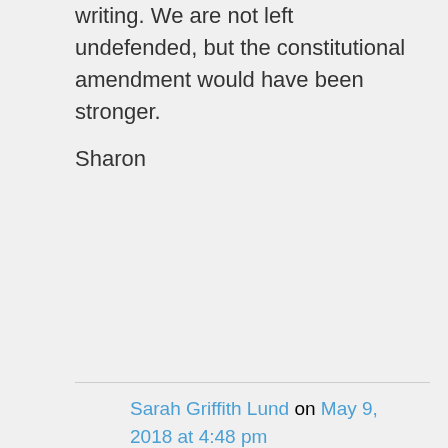writing. We are not left undefended, but the constitutional amendment would have been stronger.
Sharon
Sarah Griffith Lund on May 9, 2018 at 4:48 pm
Thank you for sharing more about the process and shedding light onto the complexities. I think you raise important points that would be important to include in the current public discussion. It's a great opportunity to raise awareness and